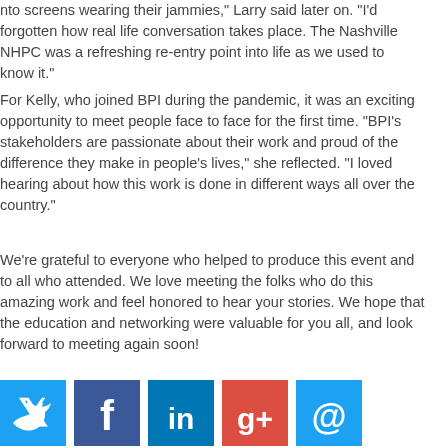nto screens wearing their jammies," Larry said later on. "I'd forgotten how real life conversation takes place. The Nashville NHPC was a refreshing re-entry point into life as we used to know it."
For Kelly, who joined BPI during the pandemic, it was an exciting opportunity to meet people face to face for the first time. "BPI's stakeholders are passionate about their work and proud of the difference they make in people's lives," she reflected. "I loved hearing about how this work is done in different ways all over the country."
We're grateful to everyone who helped to produce this event and to all who attended. We love meeting the folks who do this amazing work and feel honored to hear your stories. We hope that the education and networking were valuable for you all, and look forward to meeting again soon!
[Figure (infographic): Social media sharing icons: Twitter (blue bird), Facebook (blue f), LinkedIn (blue in), Google+ (red g+), Email (blue @)]